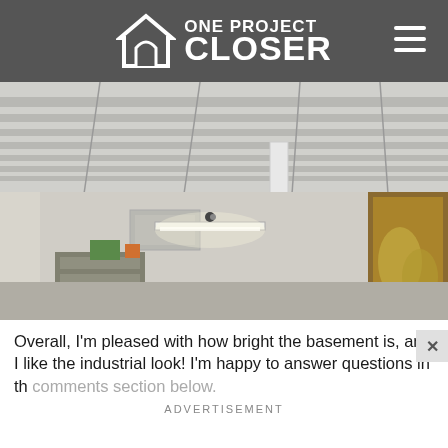ONE PROJECT CLOSER
[Figure (photo): Interior photo of a basement with painted white exposed joists ceiling, a white support column, fluorescent lighting, storage items and shelving units, and a doorway on the right showing a decorated room beyond.]
Overall, I'm pleased with how bright the basement is, and I like the industrial look! I'm happy to answer questions in the comments section below.
ADVERTISEMENT